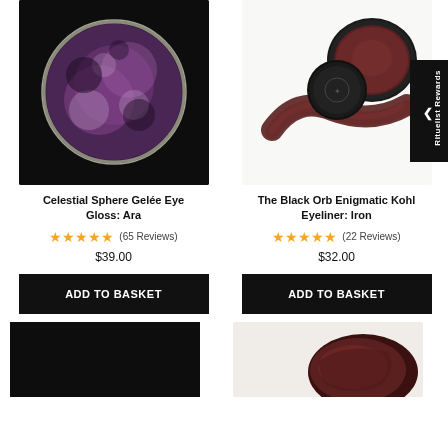[Figure (photo): Celestial Sphere Gelée Eye Gloss in Ara - a round compact showing deep purple/burgundy glittery eyeshadow on black background]
Celestial Sphere Gelée Eye Gloss: Ara
★★★★★ (65 Reviews)
$39.00
ADD TO BASKET
[Figure (photo): The Black Orb Enigmatic Kohl Eyeliner in Iron - black round compact with dark burgundy/brown cream eyeliner swatch on white background]
The Black Orb Enigmatic Kohl Eyeliner: Iron
★★★★★ (22 Reviews)
$32.00
ADD TO BASKET
[Figure (photo): Partial product image on dark/black background - bottom of page]
[Figure (photo): Partial product image showing dark red/burgundy product on light background - bottom of page]